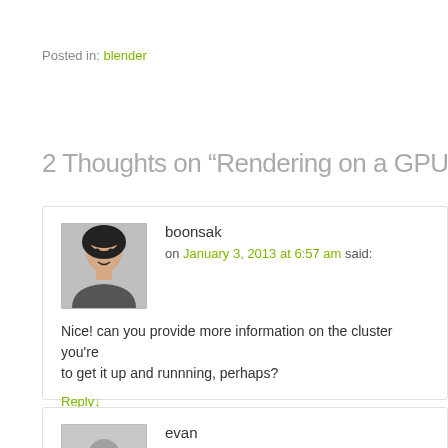Posted in: blender
2 Thoughts on “Rendering on a GPU Cluster w
boonsak
on January 3, 2013 at 6:57 am said:
Nice! can you provide more information on the cluster you're to get it up and runnning, perhaps?
Reply↓
evan
on February 26, 2015 at 11:14 pm said: